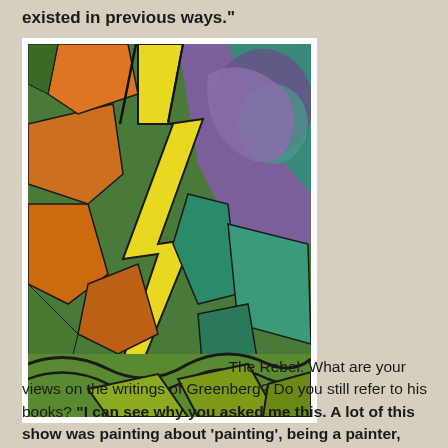existed in previous ways."
[Figure (illustration): Abstract cubist/modernist painting with bold geometric shapes, featuring jagged yellow lightning bolt forms, orange, green, teal, and purple angular sections with dark outlines]
The Rebel: What are your views on the writings of Greenberg? Do you still refer to his books? "I can see why you asked me this. A lot of this show was painting about ‘painting’, being a painter, working towards a show. I do obsessively look at other